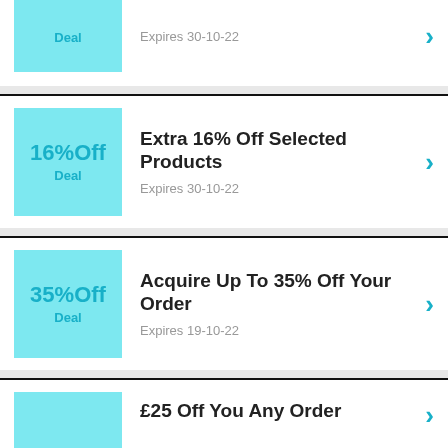Deal | Expires 30-10-22
16%Off Deal | Extra 16% Off Selected Products | Expires 30-10-22
35%Off Deal | Acquire Up To 35% Off Your Order | Expires 19-10-22
£25Off | £25 Off You Any Order